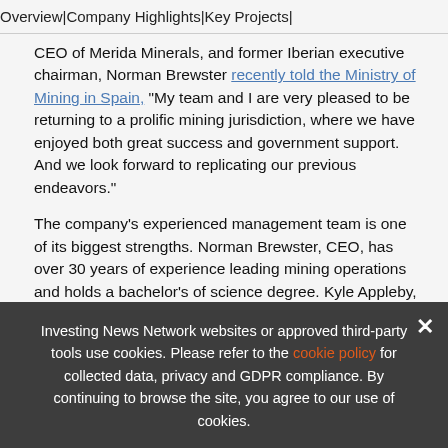Overview | Company Highlights | Key Projects |
CEO of Merida Minerals, and former Iberian executive chairman, Norman Brewster recently told the Ministry of Mining in Spain, “My team and I are very pleased to be returning to a prolific mining jurisdiction, where we have enjoyed both great success and government support. And we look forward to replicating our previous endeavors.”
The company’s experienced management team is one of its biggest strengths. Norman Brewster, CEO, has over 30 years of experience leading mining operations and holds a bachelor’s of science degree. Kyle Appleby, CFO, brings 18 years of experience managing corporate finances for multiple industries, including cannabis and natural resources. Brian H. Newton, chief geologist, has 35 years of experience ranging from busine…
Investing News Network websites or approved third-party tools use cookies. Please refer to the cookie policy for collected data, privacy and GDPR compliance. By continuing to browse the site, you agree to our use of cookies.